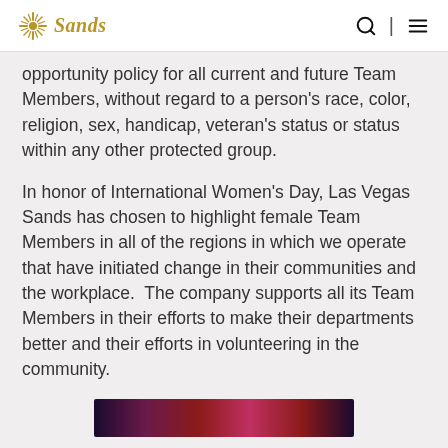Sands
opportunity policy for all current and future Team Members, without regard to a person's race, color, religion, sex, handicap, veteran's status or status within any other protected group.
In honor of International Women's Day, Las Vegas Sands has chosen to highlight female Team Members in all of the regions in which we operate that have initiated change in their communities and the workplace.  The company supports all its Team Members in their efforts to make their departments better and their efforts in volunteering in the community.
[Figure (photo): Partial image preview at the bottom of the page showing a dark purple/maroon gradient banner image]